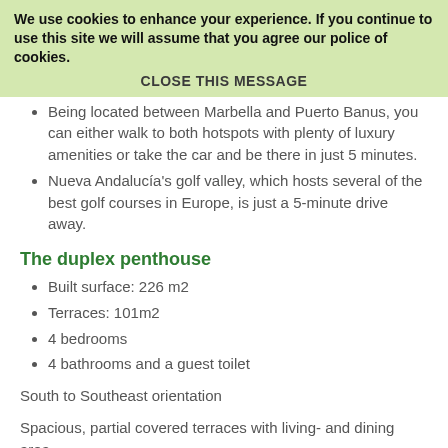We use cookies to enhance your experience. If you continue to use this site we will assume that you agree our police of cookies.
CLOSE THIS MESSAGE
As befits a complex of this high standing, it is gated and benefits from 24h security.
Being located between Marbella and Puerto Banus, you can either walk to both hotspots with plenty of luxury amenities or take the car and be there in just 5 minutes.
Nueva Andalucía's golf valley, which hosts several of the best golf courses in Europe, is just a 5-minute drive away.
The duplex penthouse
Built surface:  226 m2
Terraces:  101m2
4 bedrooms
4 bathrooms and a guest toilet
South to Southeast orientation
Spacious, partial covered terraces with living- and dining area